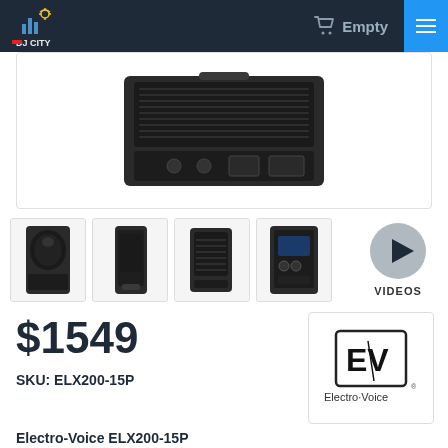[Figure (screenshot): DJ City website navigation bar with logo, shopping cart showing Empty, and hamburger menu]
[Figure (photo): Main product image showing top/rear view of a black speaker unit (Electro-Voice ELX200-15P)]
[Figure (photo): Four thumbnail images of the Electro-Voice ELX200-15P speaker from different angles, plus a VIDEOS button]
$1549
SKU: ELX200-15P
[Figure (logo): Electro-Voice brand logo in a white bordered box]
Electro-Voice ELX200-15P